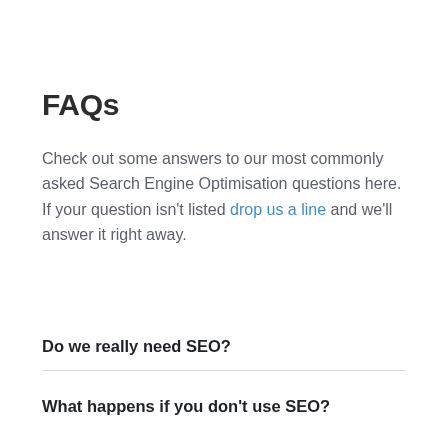FAQs
Check out some answers to our most commonly asked Search Engine Optimisation questions here. If your question isn't listed drop us a line and we'll answer it right away.
Do we really need SEO?
What happens if you don't use SEO?